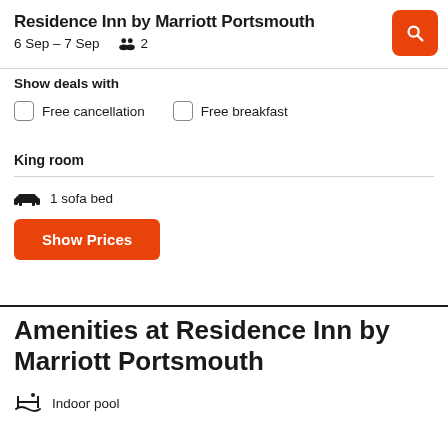Residence Inn by Marriott Portsmouth
6 Sep – 7 Sep   👥 2
Show deals with
Free cancellation
Free breakfast
King room
1 sofa bed
Show Prices
Amenities at Residence Inn by Marriott Portsmouth
Indoor pool